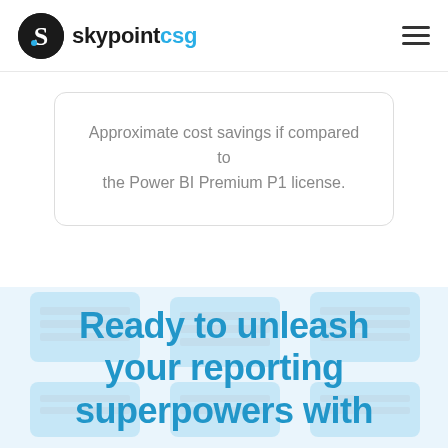skypointcsg
Approximate cost savings if compared to the Power BI Premium P1 license.
Ready to unleash your reporting superpowers with